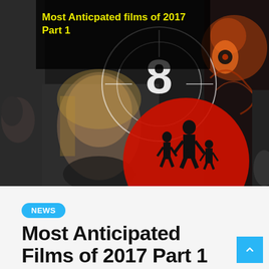[Figure (photo): Collage of movie posters for Most Anticipated Films of 2017 Part 1, featuring a woman, a red circle with silhouettes, the number 8, and a monster/creature, with yellow text overlay reading 'Most Anticpated films of 2017 Part 1']
NEWS
Most Anticipated Films of 2017 Part 1
By econdor   6 years ago